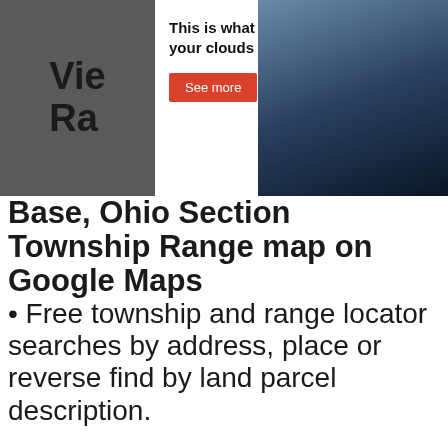[Figure (screenshot): Advertisement banner with dark background showing text 'This is what connecting your clouds feels like' with a red 'See more' button, and a photo of a person at a computer on the right side.]
View Section Township Range Base, Ohio Section Township Range map on Google Maps
• Free township and range locator searches by address, place or reverse find by land parcel description.
Just need an image? Scroll down the page to the Ohio Section Township Range Map Image
Township and Range made easy! With this